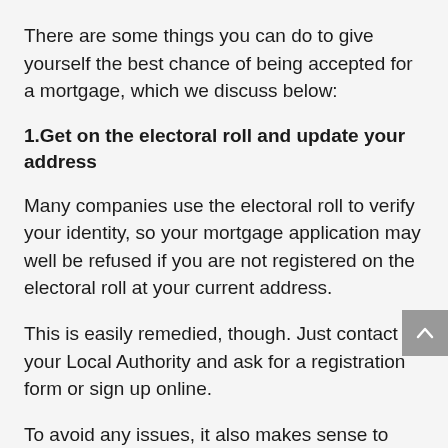There are some things you can do to give yourself the best chance of being accepted for a mortgage, which we discuss below:
1.Get on the electoral roll and update your address
Many companies use the electoral roll to verify your identity, so your mortgage application may well be refused if you are not registered on the electoral roll at your current address.
This is easily remedied, though. Just contact your Local Authority and ask for a registration form or sign up online.
To avoid any issues, it also makes sense to ensure the address the